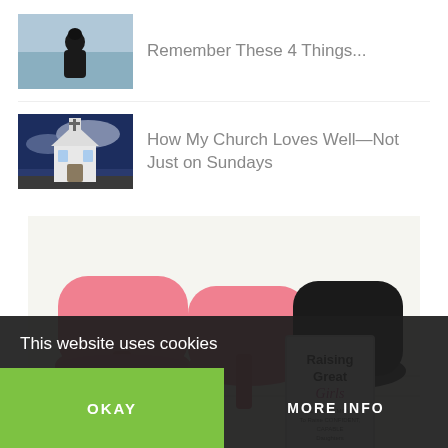[Figure (photo): Person sitting with back to viewer looking at ocean/sea]
Remember These 4 Things...
[Figure (photo): Small white church with cross on steeple against dramatic blue sky]
How My Church Loves Well—Not Just on Sundays
[Figure (photo): Advertisement image showing pink and black high heel shoes with book 'Raising Great Girls' and text 'On Sale Now!']
This website uses cookies
OKAY
MORE INFO